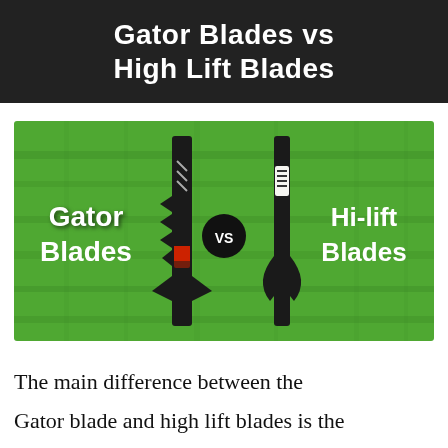Gator Blades vs High Lift Blades
[Figure (photo): Photo comparison of a Gator Blade and a Hi-lift Blade side by side on a green grass background, with a black circle in the center showing 'VS' in white text. White bold text on the left reads 'Gator Blades' and on the right reads 'Hi-lift Blades'.]
The main difference between the Gator blade and high lift blades is the lift f...